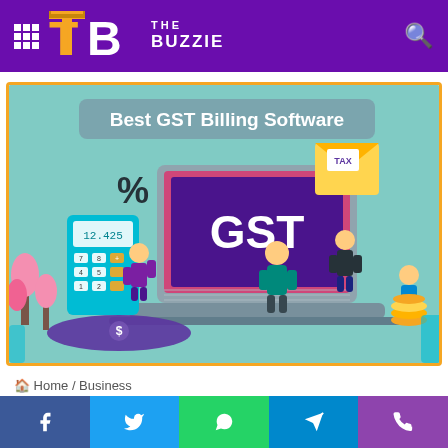[Figure (logo): The Buzzie website header with purple background, TB logo in orange/white, 'THE BUZZIE' text, grid icon and search icon]
[Figure (illustration): Best GST Billing Software illustration showing a laptop with GST text, a calculator, people, tax envelope, money, and coins on teal background with orange border]
Home / Business
[Figure (infographic): Bottom navigation bar with Facebook, Twitter, WhatsApp, Telegram, and Phone icons]